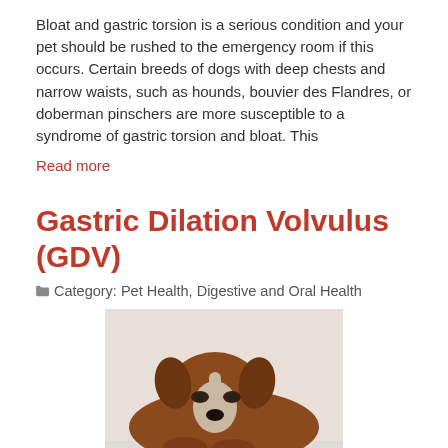Bloat and gastric torsion is a serious condition and your pet should be rushed to the emergency room if this occurs. Certain breeds of dogs with deep chests and narrow waists, such as hounds, bouvier des Flandres, or doberman pinschers are more susceptible to a syndrome of gastric torsion and bloat. This
Read more
Gastric Dilation Volvulus (GDV)
Category: Pet Health, Digestive and Oral Health
[Figure (photo): A brown and white boxer dog lying down with its head resting on a white surface, looking tired or ill.]
Gastric Dilation Volvulus (GDV) is a life threatening, acute condition that requires immediate medical attention. Certain breeds are more prone to this condition: Boxers, Great Danes, Standard Poodles, Saint Bernards, Irish Setters, Dobermans, Weimaraners, and Gordon Setters. The syndrome...